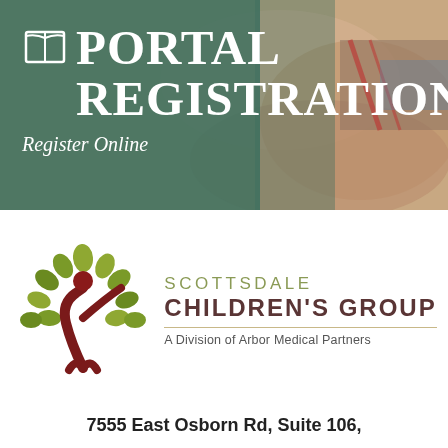[Figure (photo): Banner with hands being held in background, overlaid with dark green semi-transparent color on the left side]
PORTAL REGISTRATION
Register Online
[Figure (logo): Scottsdale Children's Group logo: a stylized tree with green leaves and a dark red human figure with arms raised, next to the text SCOTTSDALE CHILDREN'S GROUP - A Division of Arbor Medical Partners]
7555 East Osborn Rd, Suite 106,